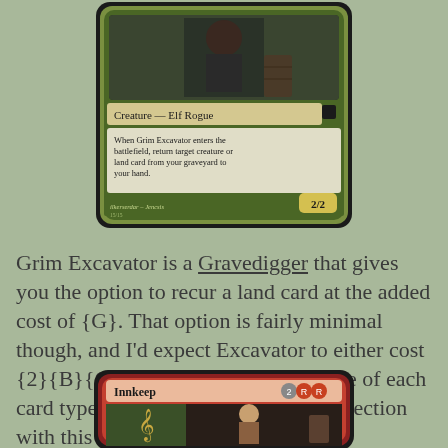[Figure (illustration): Magic: The Gathering card 'Grim Excavator' — Creature Elf Rogue, green/black bordered card with artwork showing a figure, text box reading 'When Grim Excavator enters the battlefield, return target creature or land card from your graveyard to your hand.' Power/toughness 2/2, artist ilkerserdar / Jencsis]
Grim Excavator is a Gravedigger that gives you the option to recur a land card at the added cost of {G}. That option is fairly minimal though, and I'd expect Excavator to either cost {2}{B}{G}, or be larger, or return one of each card type. I'm also not seeing the connection with this art.
[Figure (illustration): Magic: The Gathering card 'Innkeep' — red bordered card with mana cost 2RR, artwork showing a woman in an inn setting with a treble clef symbol visible]